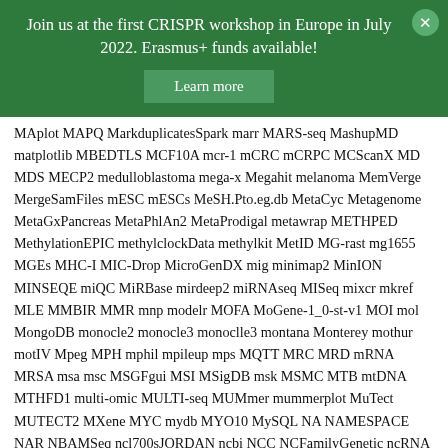Join us at the first CRISPR workshop in Europe in July 2022. Erasmus+ funds available!
Learn more
MAplot MAPQ MarkduplicatesSpark marr MARS-seq MashupMD matplotlib MBEDTLS MCF10A mcr-1 mCRC mCRPC MCScanX MD MDS MECP2 medulloblastoma mega-x Megahit melanoma MemVerge MergeSamFiles mESC mESCs MeSH.Pto.eg.db MetaCyc Metagenome MetaGxPancreas MetaPhlAn2 MetaProdigal metawrap METHPED MethylationEPIC methylclockData methylkit MetID MG-rast mg1655 MGEs MHC-I MIC-Drop MicroGenDX mig minimap2 MinION MINSEQE miQC MiRBase mirdeep2 miRNAseq MISeq mixcr mkref MLE MMBIR MMR mnp modelr MOFA MoGene-1_0-st-v1 MOI mol MongoDB monocle2 monocle3 monoclle3 montana Monterey mothur motIV Mpeg MPH mphil mpileup mps MQTT MRC MRD mRNA MRSA msa msc MSGFgui MSI MSigDB msk MSMC MTB mtDNA MTHFD1 multi-omic MULTI-seq MUMmer mummerplot MuTect MUTECT2 MXene MYC mydb MYO10 MySQL NA NAMESPACE NAR NBAMSeq ncl700sJORDAN ncbi NCC NCFamilyGenetic ncRNA NEB neofart netbenchmark NetCoMi netprioR NewStem next-gen Next.js NextDenovo nextflow Nextseq Nexus nf-core NFDI4Microbiota NfL NGG